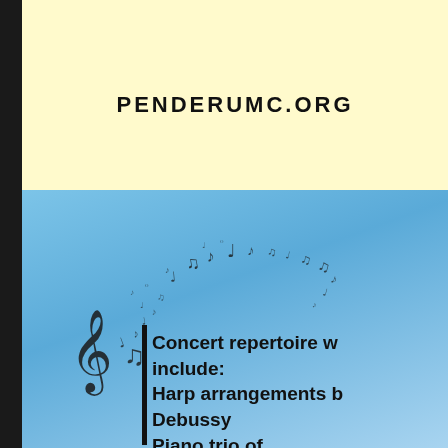PENDERUMC.ORG
[Figure (illustration): Scattered musical notes and symbols (clef, eighth notes, quarter notes) arranged in an arc pattern against a blue gradient background, with a treble clef and music notes on the left side]
Concert repertoire w include:
Harp arrangements b Debussy
Piano trio of L /D...